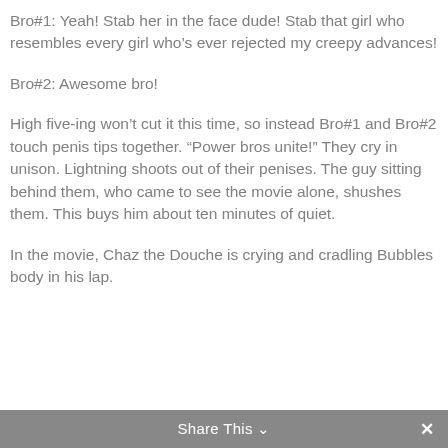Bro#1: Yeah! Stab her in the face dude! Stab that girl who resembles every girl who’s ever rejected my creepy advances!
Bro#2: Awesome bro!
High five-ing won’t cut it this time, so instead Bro#1 and Bro#2 touch penis tips together. “Power bros unite!” They cry in unison. Lightning shoots out of their penises. The guy sitting behind them, who came to see the movie alone, shushes them. This buys him about ten minutes of quiet.
In the movie, Chaz the Douche is crying and cradling Bubbles body in his lap.
Share This ⌄  ×